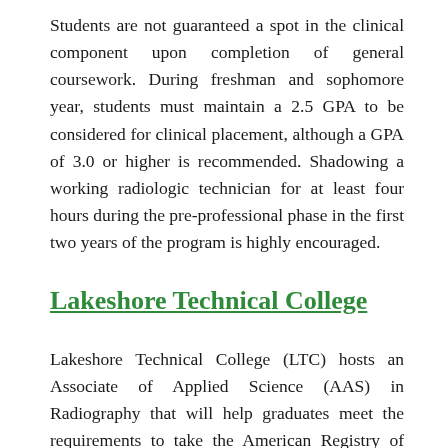Students are not guaranteed a spot in the clinical component upon completion of general coursework. During freshman and sophomore year, students must maintain a 2.5 GPA to be considered for clinical placement, although a GPA of 3.0 or higher is recommended. Shadowing a working radiologic technician for at least four hours during the pre-professional phase in the first two years of the program is highly encouraged.
Lakeshore Technical College
Lakeshore Technical College (LTC) hosts an Associate of Applied Science (AAS) in Radiography that will help graduates meet the requirements to take the American Registry of Radiologic Technologists (ARRT) certification exam. The 65-credit, two-year program begins in January with a mix of classroom and clinical education beginning in the first term. In addition to traditional radiography, students will be introduced to imaging technologies such as computed tomography,